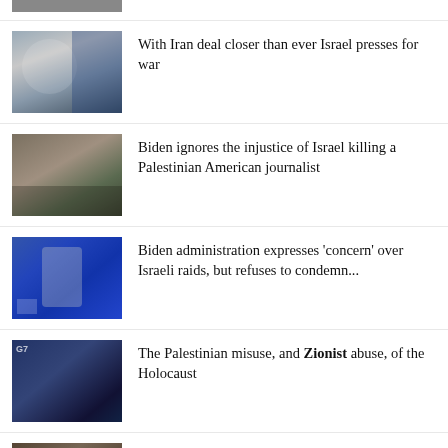[Figure (photo): Partial thumbnail at top of page, cropped news photo]
[Figure (photo): Photo of Israeli politician in front of Israeli flag]
With Iran deal closer than ever Israel presses for war
[Figure (photo): Photo related to journalist story, banner/mural visible]
Biden ignores the injustice of Israel killing a Palestinian American journalist
[Figure (photo): Photo of US State Department spokesperson at podium]
Biden administration expresses 'concern' over Israeli raids, but refuses to condemn...
[Figure (photo): G7 summit photo with two officials at podiums]
The Palestinian misuse, and Zionist abuse, of the Holocaust
[Figure (photo): Partial photo of official, cropped at bottom]
US asked Israel to review its 'rules of engagement' after Abu